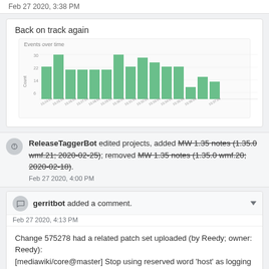Feb 27 2020, 3:38 PM
Back on track again
[Figure (bar-chart): Events over time]
ReleaseTaggerBot edited projects, added MW 1.35 notes (1.35.0 wmf.21; 2020-02-25); removed MW 1.35 notes (1.35.0 wmf.20; 2020-02-18).
Feb 27 2020, 4:00 PM
gerritbot added a comment.
Feb 27 2020, 4:13 PM
Change 575278 had a related patch set uploaded (by Reedy; owner: Reedy):
[mediawiki/core@master] Stop using reserved word 'host' as logging parameter